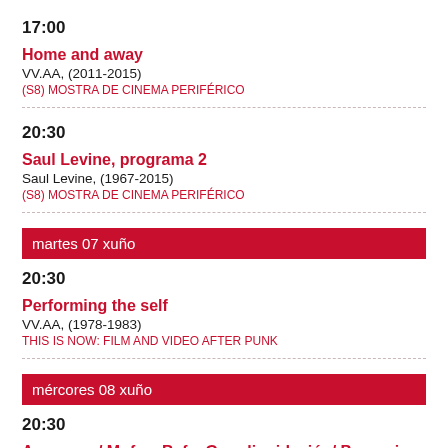17:00
Home and away
VV.AA, (2011-2015)
(S8) MOSTRA DE CINEMA PERIFÉRICO
20:30
Saul Levine, programa 2
Saul Levine, (1967-2015)
(S8) MOSTRA DE CINEMA PERIFÉRICO
martes 07 xuño
20:30
Performing the self
VV.AA, (1978-1983)
THIS IS NOW: FILM AND VIDEO AFTER PUNK
mércores 08 xuño
20:30
A repesca/ Mofa e Befa. Gran liquidación/ Paranoia